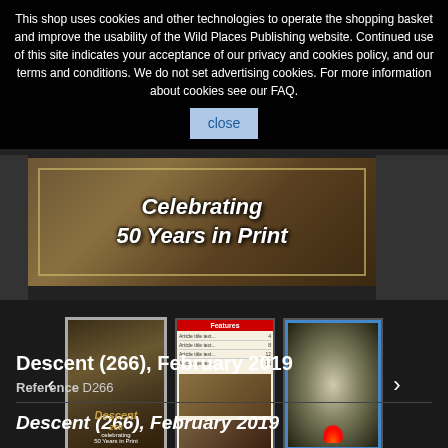This shop uses cookies and other technologies to operate the shopping basket and improve the usability of the Wild Places Publishing website. Continued use of this site indicates your acceptance of our privacy and cookies policy, and our terms and conditions. We do not set advertising cookies. For more information about cookies see our FAQ.
[Figure (illustration): Hero banner image with cave/rock texture background. Text overlay reads 'Celebrating 50 Years in Print' in bold italic white font with gold border frame.]
[Figure (photo): Carousel of three magazine cover thumbnails for Descent (266), February 2019. Left: selected cover with cave formations. Middle: table of contents page. Right: cave interior with flame/formations.]
Descent (266), February 2019
Reference D266
Descent (266), February 2019